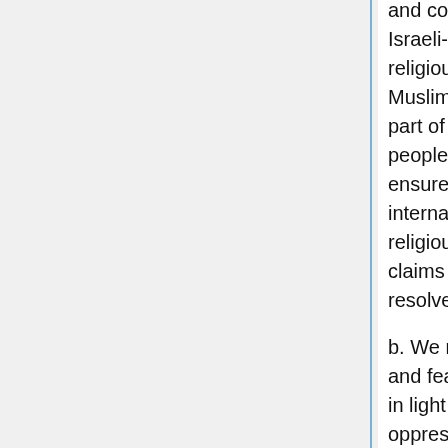and contemporary cultural diversity of Israeli-Palestinian society, including the religious heritage of Jews, Christians, Muslims and others. This is a significant part of the rich cultural legacy of all these peoples and it must be respected. To ensure this, we support equality before international law rather than appeals to religious faith as the fair basis on which claims to the land of Palestine-Israel are resolved.
b. We recognize that Jewish insecurity and fear of non-Jews is understandable in light of Jewish history of horrific oppression in Europe. However, we oppose as both discriminatory and ultimately self-defeating the position that Jews would be fundamentally threatened by the implementation of full rights to Palestinian-Israelis and Palestinian refugees and rights to their...